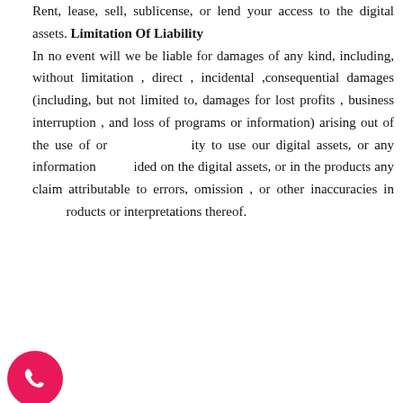Rent, lease, sell, sublicense, or lend your access to the digital assets. Limitation Of Liability In no event will we be liable for damages of any kind, including, without limitation , direct , incidental ,consequential damages (including, but not limited to, damages for lost profits , business interruption , and loss of programs or information) arising out of the use of or ity to use our digital assets, or any information ided on the digital assets, or in the products any claim attributable to errors, omission , or other inaccuracies in products or interpretations thereof.
Indemnification
User agrees to indemnify, defend and hold Dr. SK Jain's Burlington Clinic Pvt. Ltd. or its owners harmless from and against all losses, expenses, damages and cost, including reasonable attorney's fees, arising out of or related to any misuse by the user of the content and services provided on the digital assets.